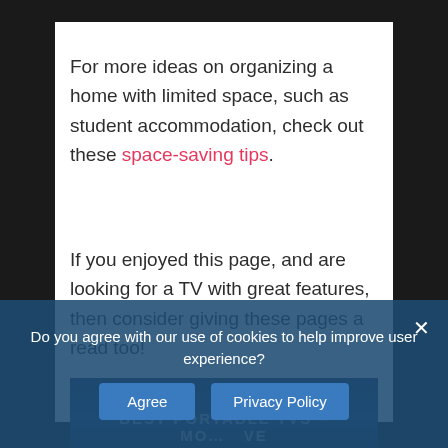For more ideas on organizing a home with limited space, such as student accommodation, check out these space-saving tips.
If you enjoyed this page, and are looking for a TV with great features, then consider giving these pages a read too!
[Figure (photo): Partially visible image preview of a TV-related article with text 'BEST PORTABLE TVS – MO... VE' overlaid]
Do you agree with our use of cookies to help improve user experience?